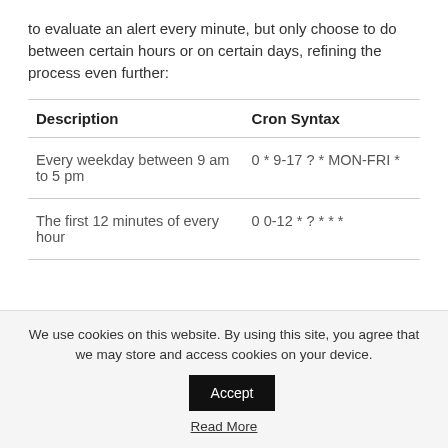to evaluate an alert every minute, but only choose to do between certain hours or on certain days, refining the process even further:
| Description | Cron Syntax |
| --- | --- |
| Every weekday between 9 am to 5 pm | 0 * 9-17 ? * MON-FRI * |
| The first 12 minutes of every hour | 0 0-12 * ? * * * |
We use cookies on this website. By using this site, you agree that we may store and access cookies on your device.
Accept
Read More